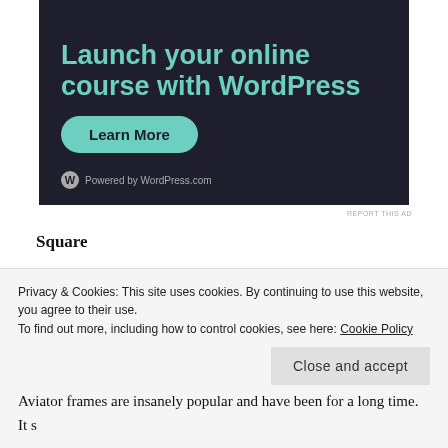[Figure (illustration): Advertisement banner with dark navy background showing text 'Launch your online course with WordPress' in teal font, a teal 'Learn More' rounded button, and 'Powered by WordPress.com' footer with WordPress logo.]
REPORT THIS AD
Square
Square can still offer a subtle look, just like round frames, but with a hint of something more edgy and out there. It's artistic and sophisticated. You should definitely include a square pair as part of
Privacy & Cookies: This site uses cookies. By continuing to use this website, you agree to their use.
To find out more, including how to control cookies, see here: Cookie Policy
Aviator frames are insanely popular and have been for a long time. It s